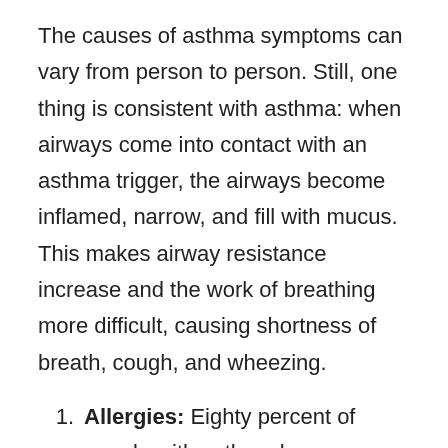The causes of asthma symptoms can vary from person to person. Still, one thing is consistent with asthma: when airways come into contact with an asthma trigger, the airways become inflamed, narrow, and fill with mucus. This makes airway resistance increase and the work of breathing more difficult, causing shortness of breath, cough, and wheezing.
Allergies: Eighty percent of people with asthma have allergies to airborne substances such as tree,